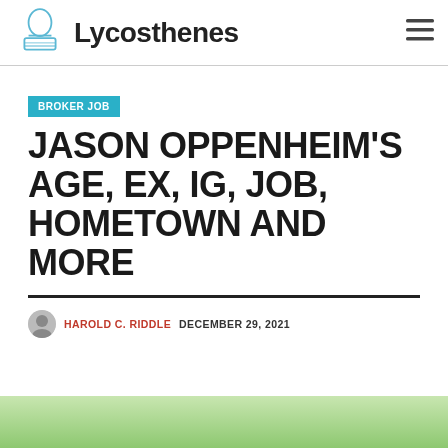Lycosthenes
BROKER JOB
JASON OPPENHEIM'S AGE, EX, IG, JOB, HOMETOWN AND MORE
HAROLD C. RIDDLE   DECEMBER 29, 2021
[Figure (photo): Bottom portion of a person photo with green blurred background]